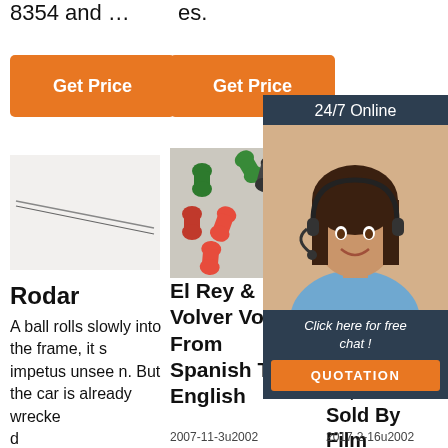8354 and …
es.
Get Price
Get Price
24/7 Online
[Figure (photo): Thin needle or pin product on light background]
[Figure (photo): Colorful red and green plastic connectors/joints on gray background]
[Figure (photo): Gray partial product image]
[Figure (photo): Customer service agent woman with headset smiling]
Click here for free chat !
QUOTATION
Rodar
El Rey & Volver Volver From Spanish To English
Ro Rodar Produces 'Mauthausen,' Sold By Film
A ball rolls slowly into the frame, it s impetus unseen. But the car is already wrecked
2007-11-3u2002
2017-2-16u2002